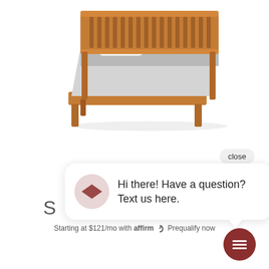[Figure (photo): Product photo of a wooden bed frame with slatted headboard in cherry/walnut finish, made up with white pillows and grey bedding, on white background.]
close
S
Hi there! Have a question? Text us here.
Starting at $121/mo with affirm. Prequalify now
[Figure (illustration): Dark red chat bubble FAB button with hamburger/chat lines icon]